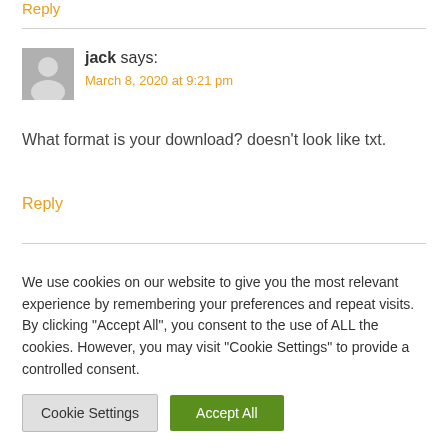Reply
jack says:
March 8, 2020 at 9:21 pm
What format is your download? doesn’t look like txt.
Reply
We use cookies on our website to give you the most relevant experience by remembering your preferences and repeat visits. By clicking “Accept All”, you consent to the use of ALL the cookies. However, you may visit "Cookie Settings" to provide a controlled consent.